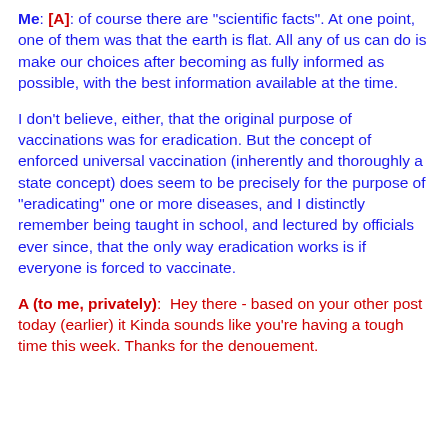Me: [A]: of course there are "scientific facts". At one point, one of them was that the earth is flat. All any of us can do is make our choices after becoming as fully informed as possible, with the best information available at the time.
I don't believe, either, that the original purpose of vaccinations was for eradication. But the concept of enforced universal vaccination (inherently and thoroughly a state concept) does seem to be precisely for the purpose of "eradicating" one or more diseases, and I distinctly remember being taught in school, and lectured by officials ever since, that the only way eradication works is if everyone is forced to vaccinate.
A (to me, privately):  Hey there - based on your other post today (earlier) it Kinda sounds like you're having a tough time this week. Thanks for the denouement.